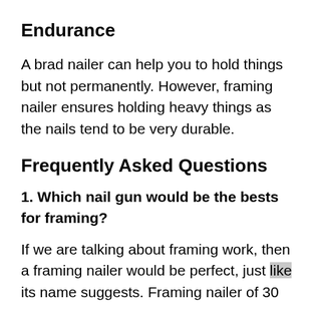Endurance
A brad nailer can help you to hold things but not permanently. However, framing nailer ensures holding heavy things as the nails tend to be very durable.
Frequently Asked Questions
1. Which nail gun would be the bests for framing?
If we are talking about framing work, then a framing nailer would be perfect, just like its name suggests. Framing nailer of 30